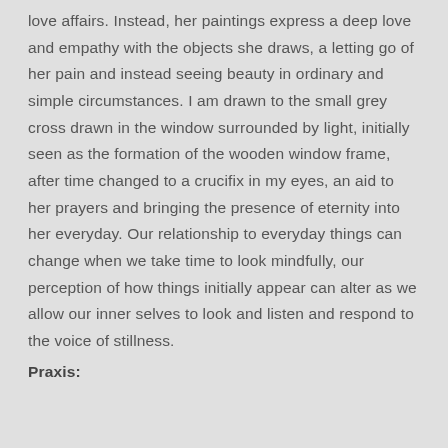love affairs. Instead, her paintings express a deep love and empathy with the objects she draws, a letting go of her pain and instead seeing beauty in ordinary and simple circumstances. I am drawn to the small grey cross drawn in the window surrounded by light, initially seen as the formation of the wooden window frame, after time changed to a crucifix in my eyes, an aid to her prayers and bringing the presence of eternity into her everyday. Our relationship to everyday things can change when we take time to look mindfully, our perception of how things initially appear can alter as we allow our inner selves to look and listen and respond to the voice of stillness.
Praxis: